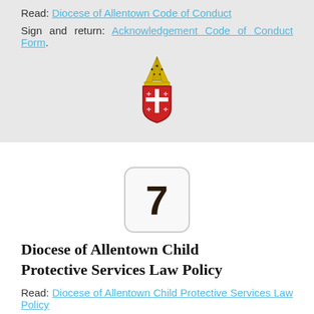Read: Diocese of Allentown Code of Conduct
Sign and return: Acknowledgement Code of Conduct Form.
[Figure (illustration): Diocese of Allentown episcopal coat of arms / crest with bishop's mitre and cross]
7
Diocese of Allentown Child Protective Services Law Policy
Read: Diocese of Allentown Child Protective Services Law Policy
Sign and return: CPSL Acknowledgement Form *New